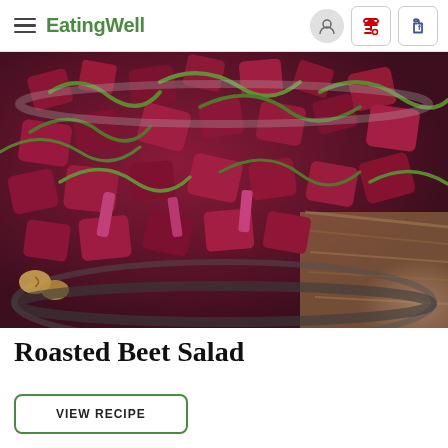EatingWell
[Figure (photo): Overhead close-up photo of a roasted beet salad with chopped beets, greens, and walnuts in a glass bowl on a wood surface]
Roasted Beet Salad
VIEW RECIPE